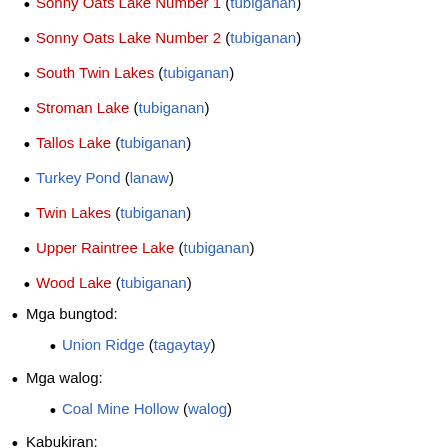Sonny Oats Lake Number 1 (tubiganan)
Sonny Oats Lake Number 2 (tubiganan)
South Twin Lakes (tubiganan)
Stroman Lake (tubiganan)
Tallos Lake (tubiganan)
Turkey Pond (lanaw)
Twin Lakes (tubiganan)
Upper Raintree Lake (tubiganan)
Wood Lake (tubiganan)
Mga bungtod:
Union Ridge (tagaytay)
Mga walog:
Coal Mine Hollow (walog)
Kabukiran:
Adams Mountain (bukid)